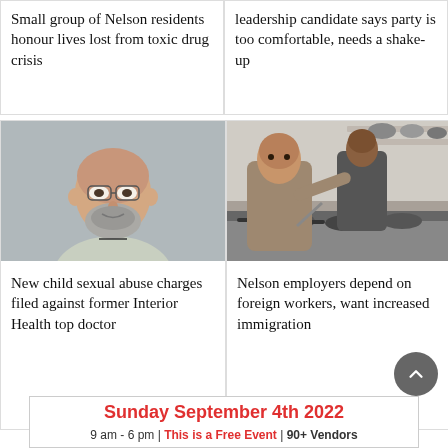Small group of Nelson residents honour lives lost from toxic drug crisis
leadership candidate says party is too comfortable, needs a shake-up
[Figure (photo): Headshot of a middle-aged bald man with glasses and a grey beard, wearing a light-coloured shirt]
[Figure (photo): Two men working in a commercial kitchen with pots and pans on a stove]
New child sexual abuse charges filed against former Interior Health top doctor
Nelson employers depend on foreign workers, want increased immigration
Sunday September 4th 2022
9 am - 6 pm | This is a Free Event | 90+ Vendors